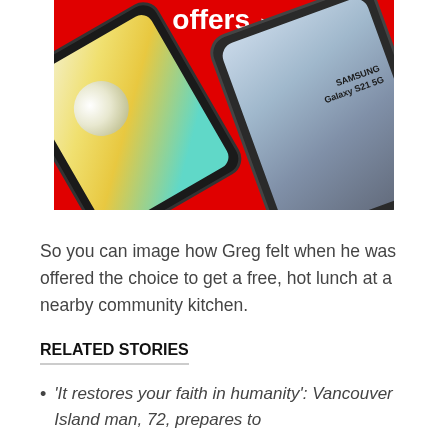[Figure (photo): Advertisement showing two Samsung smartphones (Galaxy S21 5G) on a red background with the word 'offers' and a right-pointing arrow at the top.]
So you can image how Greg felt when he was offered the choice to get a free, hot lunch at a nearby community kitchen.
RELATED STORIES
'It restores your faith in humanity': Vancouver Island man, 72, prepares to